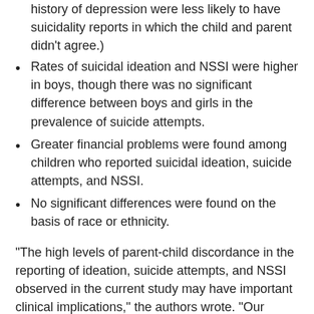history of depression were less likely to have suicidality reports in which the child and parent didn't agree.)
Rates of suicidal ideation and NSSI were higher in boys, though there was no significant difference between boys and girls in the prevalence of suicide attempts.
Greater financial problems were found among children who reported suicidal ideation, suicide attempts, and NSSI.
No significant differences were found on the basis of race or ethnicity.
“The high levels of parent-child discordance in the reporting of ideation, suicide attempts, and NSSI observed in the current study may have important clinical implications,” the authors wrote. “Our findings highlight the need to ensure that suicide assessments are conducted with children directly rather than solely with the child’s caregivers.”
For more information, see Psychiatric News article